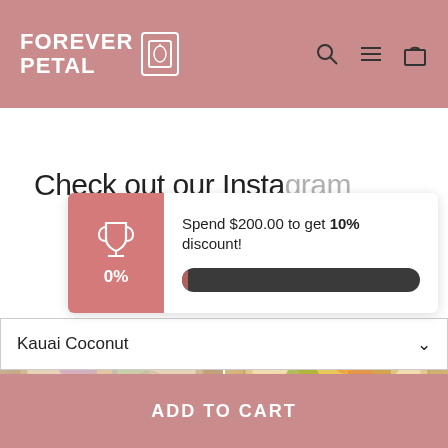FOREVER PETAL
Check out our Instagram
Spend $200.00 to get 10% discount! 0%
[Figure (screenshot): Two framed pressed flower art pieces on a wood stand, shown in a photo strip]
Kauai Coconut
ADD TO CART